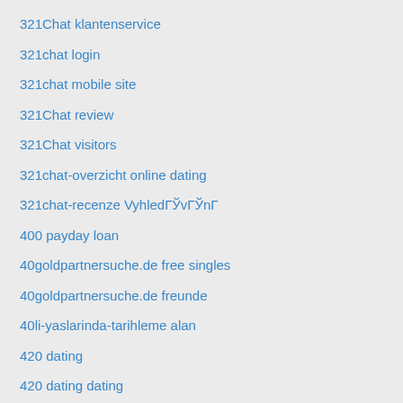321Chat klantenservice
321chat login
321chat mobile site
321Chat review
321Chat visitors
321chat-overzicht online dating
321chat-recenze VyhledГЎvГЎnГ
400 payday loan
40goldpartnersuche.de free singles
40goldpartnersuche.de freunde
40li-yaslarinda-tarihleme alan
420 dating
420 dating dating
420 Dating DE Dating Apps
420 Dating reviews